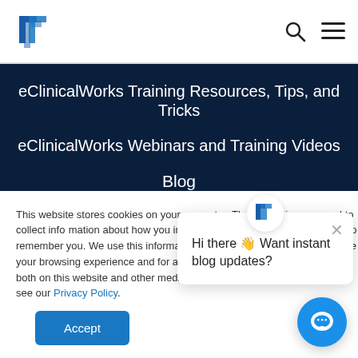eClinicalWorks Training Resources, Tips, and Tricks
eClinicalWorks Webinars and Training Videos
Blog
Customer Outcomes
This website stores cookies on your computer. These cookies are used to collect information about how you interact with our website and allow us to remember you. We use this information in order to improve and customize your browsing experience and for analytics and metrics about our visitors both on this website and other media. To find out more about the cookies we use, please see our Privacy Policy.
Hi there 👋 Want instant blog updates?